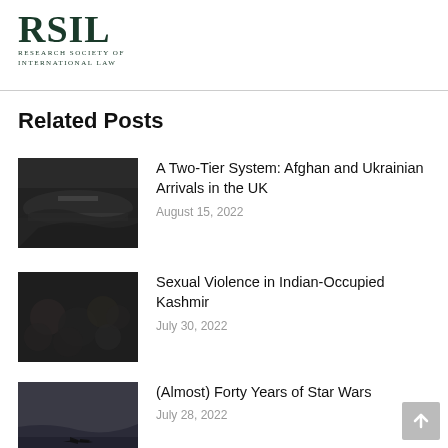[Figure (logo): RSIL - Research Society of International Law logo with large serif letters RSIL and subtitle text]
Related Posts
[Figure (photo): Aerial view of a crowded city area with a river, dark toned]
A Two-Tier System: Afghan and Ukrainian Arrivals in the UK
August 15, 2022
[Figure (photo): Crowd of people, dark toned image]
Sexual Violence in Indian-Occupied Kashmir
July 30, 2022
[Figure (photo): Dark sky with a military aircraft silhouette]
(Almost) Forty Years of Star Wars
July 28, 2022